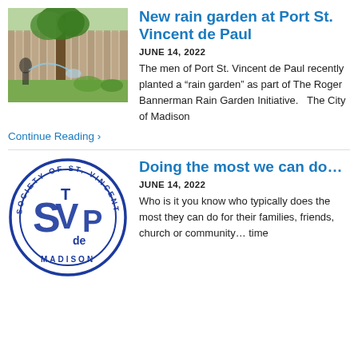[Figure (photo): Outdoor garden scene with trees, a wooden fence, and someone watering plants with a hose in a backyard setting.]
New rain garden at Port St. Vincent de Paul
JUNE 14, 2022
The men of Port St. Vincent de Paul recently planted a “rain garden” as part of The Roger Bannerman Rain Garden Initiative.   The City of Madison
Continue Reading ›
[Figure (logo): Society of St. Vincent de Paul Madison circular logo with blue text and emblems.]
Doing the most we can do…
JUNE 14, 2022
Who is it you know who typically does the most they can do for their families, friends, church or community… time